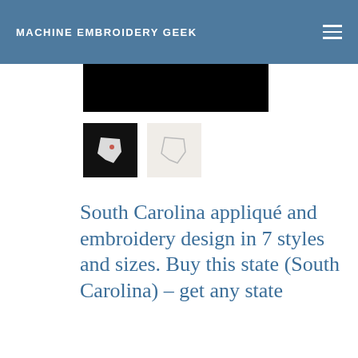MACHINE EMBROIDERY GEEK
[Figure (photo): Dark/black hero image at top of page]
[Figure (photo): Thumbnail 1: South Carolina state silhouette embroidery on black fabric]
[Figure (photo): Thumbnail 2: South Carolina state outline on light beige background]
South Carolina appliqué and embroidery design in 7 styles and sizes. Buy this state (South Carolina) – get any state